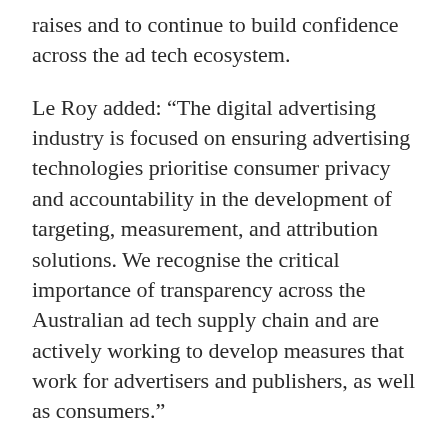raises and to continue to build confidence across the ad tech ecosystem.
Le Roy added: “The digital advertising industry is focused on ensuring advertising technologies prioritise consumer privacy and accountability in the development of targeting, measurement, and attribution solutions. We recognise the critical importance of transparency across the Australian ad tech supply chain and are actively working to develop measures that work for advertisers and publishers, as well as consumers.”
ADMA, head of regulatory and advocacy, Sarla Fernando, commented: “The ad tech industry is a necessary stimulant to the entire Australian digital economy, be that consumers, advertisers and publishers. Ad tech acts as the engine for the